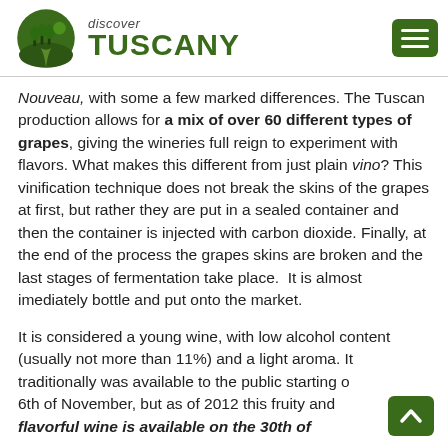discover TUSCANY
Nouveau, with some a few marked differences. The Tuscan production allows for a mix of over 60 different types of grapes, giving the wineries full reign to experiment with flavors. What makes this different from just plain vino? This vinification technique does not break the skins of the grapes at first, but rather they are put in a sealed container and then the container is injected with carbon dioxide. Finally, at the end of the process the grapes skins are broken and the last stages of fermentation take place.  It is almost imediately bottle and put onto the market.
It is considered a young wine, with low alcohol content (usually not more than 11%) and a light aroma. It traditionally was available to the public starting on the 6th of November, but as of 2012 this fruity and flavorful wine is available on the 30th of